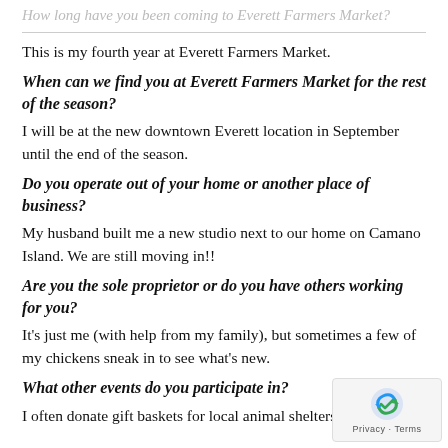How long have you been coming to Everett Farmers Market?
This is my fourth year at Everett Farmers Market.
When can we find you at Everett Farmers Market for the rest of the season?
I will be at the new downtown Everett location in September until the end of the season.
Do you operate out of your home or another place of business?
My husband built me a new studio next to our home on Camano Island. We are still moving in!!
Are you the sole proprietor or do you have others working for you?
It's just me (with help from my family), but sometimes a few of my chickens sneak in to see what's new.
What other events do you participate in?
I often donate gift baskets for local animal shelters and charity